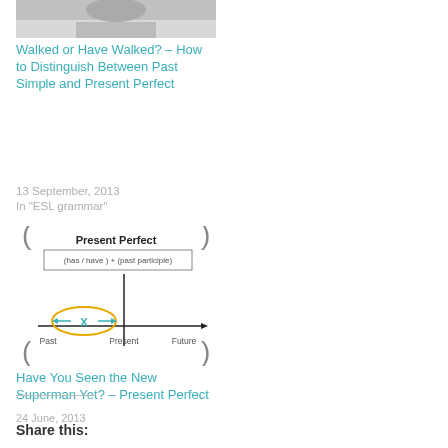[Figure (photo): Black and white photo of a person, partial view at top of left column]
Walked or Have Walked? – How to Distinguish Between Past Simple and Present Perfect
13 September, 2013
In "ESL grammar"
How to Choose Between Past Simple and Past Progressive and Use Them Together
9 July, 2014
In "English tenses"
[Figure (illustration): Present Perfect grammar diagram showing a timeline with Past, Present, Future labels, a formula box (has/have) + (past participle), and an ellipse labeled X on the left side of the present marker]
Have You Seen the New Superman Yet? – Present Perfect
24 June, 2013
In "Present perfect"
Share this: